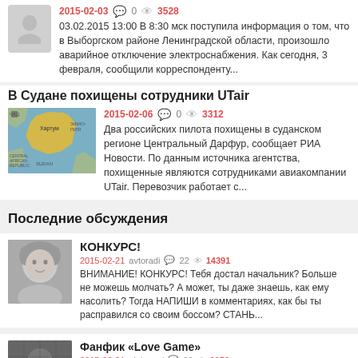2015-02-03  0  3528
03.02.2015 13:00 В 8:30 мск поступила информация о том, что в Выборгском районе Ленинградской области, произошло аварийное отключение электроснабжения. Как сегодня, 3 февраля, сообщили корреспонденту...
В Судане похищены сотрудники UTair
2015-02-06  0  3312
Два российских пилота похищены в суданском регионе Центральный Дарфур, сообщает РИА Новости. По данным источника агентства, похищенные являются сотрудниками авиакомпании UTair. Перевозчик работает с...
Последние обсуждения
КОНКУРС!
2015-02-21 avtoradi  22  14391
ВНИМАНИЕ! КОНКУРС! Тебя достал начальник? Больше не можешь молчать? А может, ты даже знаешь, как ему насолить? Тогда НАПИШИ в комментариях, как бы ты расправился со своим боссом? СТАНЬ...
Фанфик «Love Game»
2015-02-21 aleksand  99  9052
Название: Love Game Автор: Женя Черненко (Bussy) Жанр: Драма, романтика, Юмор Рейтинг: NC-17 Пейринг: Нейт/Бэк, Нейт/Ро...